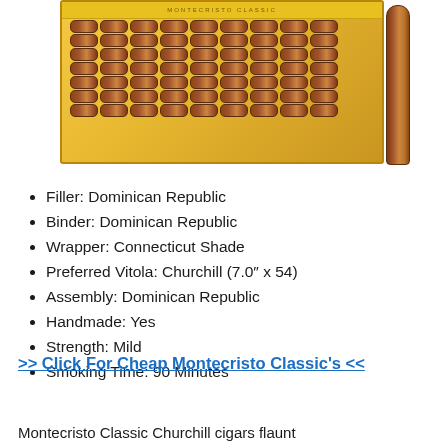[Figure (photo): A yellow wooden cigar box open and filled with rows of cigars, with a single cigar standing upright to the right.]
Filler: Dominican Republic
Binder: Dominican Republic
Wrapper: Connecticut Shade
Preferred Vitola: Churchill (7.0″ x 54)
Assembly: Dominican Republic
Handmade: Yes
Strength: Mild
Smoking Time: 90 Minutes
>> Click For Cheap Montecristo Classic's <<
Montecristo Classic Churchill cigars flaunt